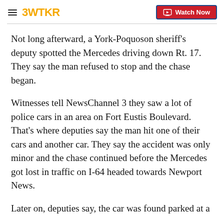3WTKR | Watch Now
Not long afterward, a York-Poquoson sheriff's deputy spotted the Mercedes driving down Rt. 17. They say the man refused to stop and the chase began.
Witnesses tell NewsChannel 3 they saw a lot of police cars in an area on Fort Eustis Boulevard. That's where deputies say the man hit one of their cars and another car. They say the accident was only minor and the chase continued before the Mercedes got lost in traffic on I-64 headed towards Newport News.
Later on, deputies say, the car was found parked at a